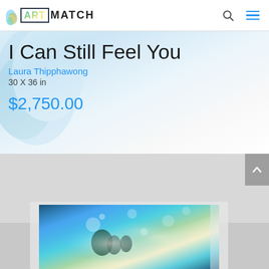ART MATCH
I Can Still Feel You
Laura Thipphawong
30 X 36 in
$2,750.00
[Figure (photo): Abstract painting with blue, green, teal tones, bokeh light effects, partially visible at bottom of page]